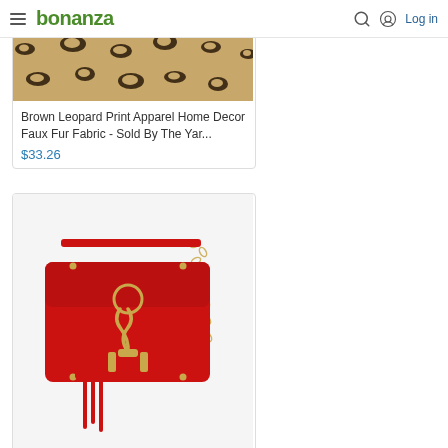bonanza — Log in
[Figure (photo): Brown leopard print faux fur fabric texture, closeup showing tan/beige background with dark brown/black spots pattern]
Brown Leopard Print Apparel Home Decor Faux Fur Fabric - Sold By The Yar...
$33.26
[Figure (photo): Red leather mini crossbody handbag with gold hardware, chain strap, front clasp closure, and red suede tassel charms]